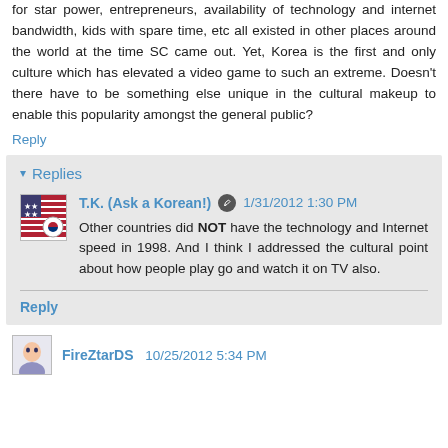for star power, entrepreneurs, availability of technology and internet bandwidth, kids with spare time, etc all existed in other places around the world at the time SC came out. Yet, Korea is the first and only culture which has elevated a video game to such an extreme. Doesn't there have to be something else unique in the cultural makeup to enable this popularity amongst the general public?
Reply
▾ Replies
T.K. (Ask a Korean!) 1/31/2012 1:30 PM
Other countries did NOT have the technology and Internet speed in 1998. And I think I addressed the cultural point about how people play go and watch it on TV also.
Reply
FireZtarDS 10/25/2012 5:34 PM